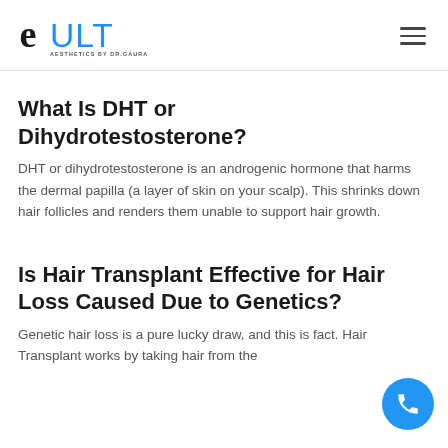[Figure (logo): Cult Aesthetics by Dr. Gaurav logo — stylized 'e' in black followed by 'ULT' in blue, with 'AESTHETICS BY DR.GAURAV' in small text below]
What Is DHT or Dihydrotestosterone?
DHT or dihydrotestosterone is an androgenic hormone that harms the dermal papilla (a layer of skin on your scalp). This shrinks down hair follicles and renders them unable to support hair growth.
Is Hair Transplant Effective for Hair Loss Caused Due to Genetics?
Genetic hair loss is a pure lucky draw, and this is fact. Hair Transplant works by taking hair from the